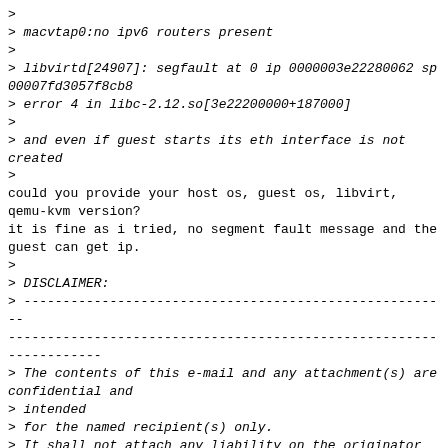>
> macvtap0:no ipv6 routers present
>
> libvirtd[24907]: segfault at 0 ip 0000003e22280062 sp 00007fd3057f8cb8
> error 4 in libc-2.12.so[3e22200000+187000]
>
> and even if guest starts its eth interface is not created
>
could you provide your host os, guest os, libvirt, qemu-kvm version?
it is fine as i tried, no segment fault message and the guest can get ip.
>
> DISCLAIMER:
> -------------------------------------------------------
-------------------------------------------------------
------------
> The contents of this e-mail and any attachment(s) are confidential and
> intended
> for the named recipient(s) only.
> It shall not attach any liability on the originator or NECHCL or its
> affiliates. Any views or opinions presented in
> this email are solely those of the author and may not necessarily reflect the
> opinions of NECHCL or its affiliates.
> Any form of reproduction, dissemination, copying,